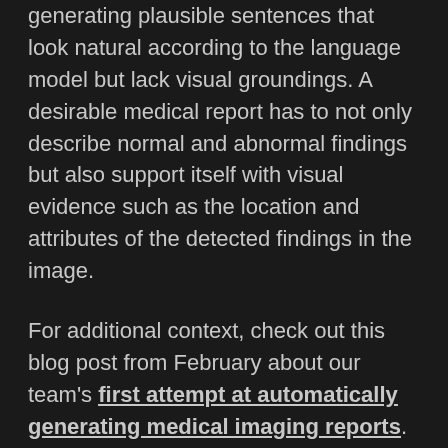generating plausible sentences that look natural according to the language model but lack visual groundings. A desirable medical report has to not only describe normal and abnormal findings but also support itself with visual evidence such as the location and attributes of the detected findings in the image.
For additional context, check out this blog post from February about our team's first attempt at automatically generating medical imaging reports.
Hybrid Retrieval-Generation Reinforced Agent
Inspired by the fact that, when writing these reports